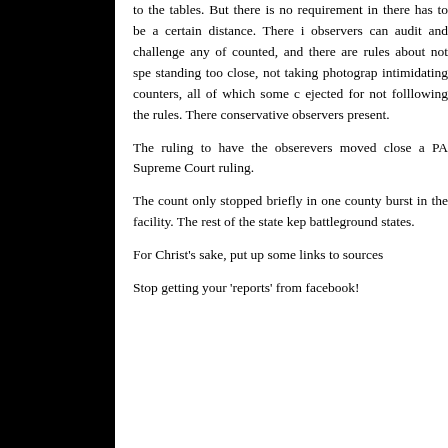to the tables. But there is no requirement in there has to be a certain distance. There i observers can audit and challenge any of counted, and there are rules about not spe standing too close, not taking photograp intimidating counters, all of which some c ejected for not folllowing the rules. There conservative observers present.
The ruling to have the obserevers moved close a PA Supreme Court ruling.
The count only stopped briefly in one county burst in the facility. The rest of the state kep battleground states.
For Christ's sake, put up some links to sources
Stop getting your ‘reports’ from facebook!